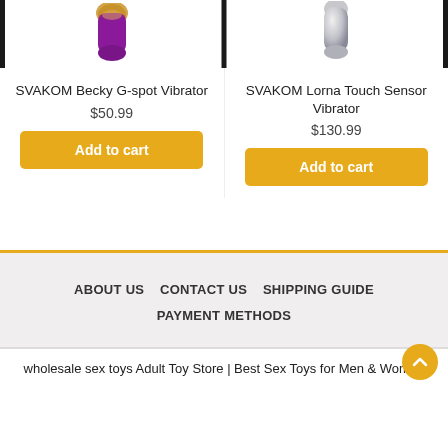[Figure (photo): SVAKOM Becky G-spot Vibrator product image - purple/gold vibrator]
[Figure (photo): SVAKOM Lorna Touch Sensor Vibrator product image - silver vibrator]
SVAKOM Becky G-spot Vibrator
$50.99
Add to cart
SVAKOM Lorna Touch Sensor Vibrator
$130.99
Add to cart
ABOUT US   CONTACT US   SHIPPING GUIDE   PAYMENT METHODS
wholesale sex toys Adult Toy Store | Best Sex Toys for Men & Women